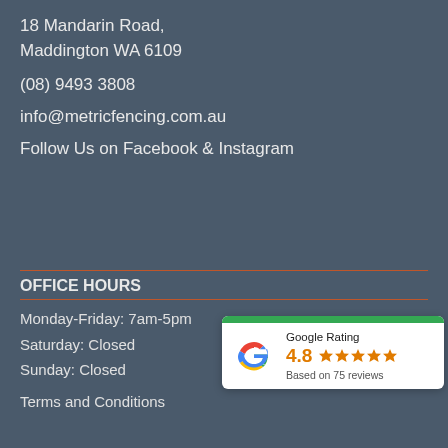18 Mandarin Road,
Maddington WA 6109
(08) 9493 3808
info@metricfencing.com.au
Follow Us on Facebook & Instagram
OFFICE HOURS
Monday-Friday: 7am-5pm
Saturday: Closed
Sunday: Closed
[Figure (infographic): Google Rating widget showing 4.8 stars based on 75 reviews, with Google logo and green top bar]
Terms and Conditions